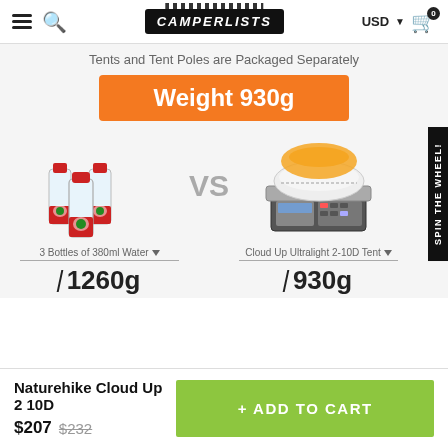CAMPERLISTS — USD — Cart (0)
Tents and Tent Poles are Packaged Separately
Weight 930g
[Figure (photo): Comparison image: Three bottles of 380ml water (1260g) vs Cloud Up Ultralight 2-10D Tent on a scale (930g), with VS text between them]
3 Bottles of 380ml Water — 1260g
Cloud Up Ultralight 2-10D Tent — 930g
Naturehike Cloud Up 2 10D
$207 $232
+ ADD TO CART